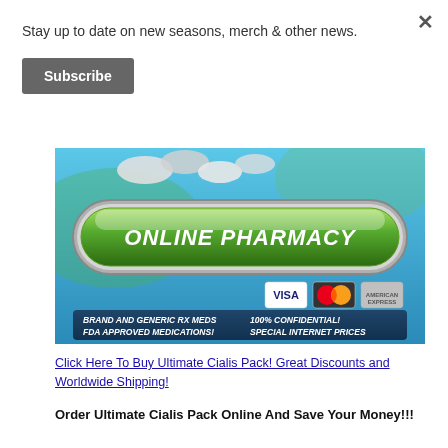Stay up to date on new seasons, merch & other news.
Subscribe
[Figure (illustration): Online pharmacy advertisement banner with green glossy button reading 'ONLINE PHARMACY', pills in background, credit card logos (VISA, MasterCard, American Express), and text: BRAND AND GENERIC RX MEDS, FDA APPROVED MEDICATIONS!, 100% CONFIDENTIAL!, SPECIAL INTERNET PRICES]
Click Here To Buy Ultimate Cialis Pack! Great Discounts and Worldwide Shipping!
Order Ultimate Cialis Pack Online And Save Your Money!!!